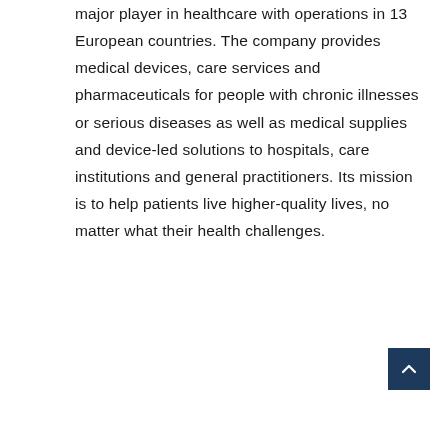major player in healthcare with operations in 13 European countries. The company provides medical devices, care services and pharmaceuticals for people with chronic illnesses or serious diseases as well as medical supplies and device-led solutions to hospitals, care institutions and general practitioners. Its mission is to help patients live higher-quality lives, no matter what their health challenges.